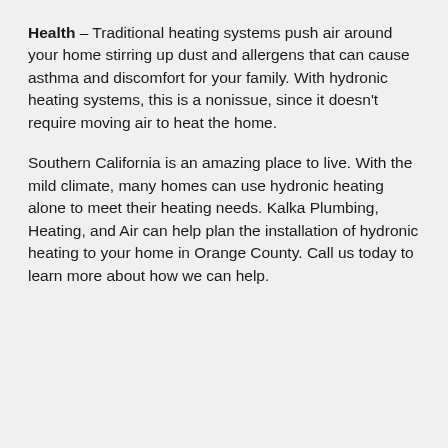Health – Traditional heating systems push air around your home stirring up dust and allergens that can cause asthma and discomfort for your family. With hydronic heating systems, this is a nonissue, since it doesn't require moving air to heat the home.
Southern California is an amazing place to live. With the mild climate, many homes can use hydronic heating alone to meet their heating needs. Kalka Plumbing, Heating, and Air can help plan the installation of hydronic heating to your home in Orange County. Call us today to learn more about how we can help.